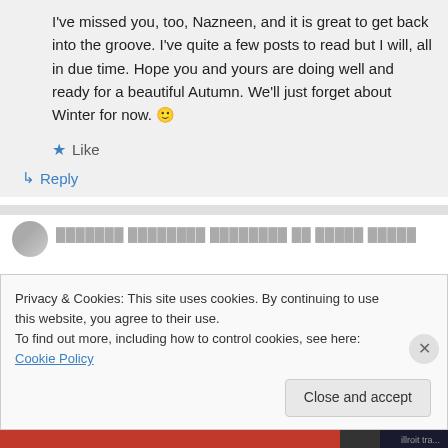I've missed you, too, Nazneen, and it is great to get back into the groove. I've quite a few posts to read but I will, all in due time. Hope you and yours are doing well and ready for a beautiful Autumn. We'll just forget about Winter for now. 🙂
★ Like
↳ Reply
Privacy & Cookies: This site uses cookies. By continuing to use this website, you agree to their use. To find out more, including how to control cookies, see here: Cookie Policy
Close and accept